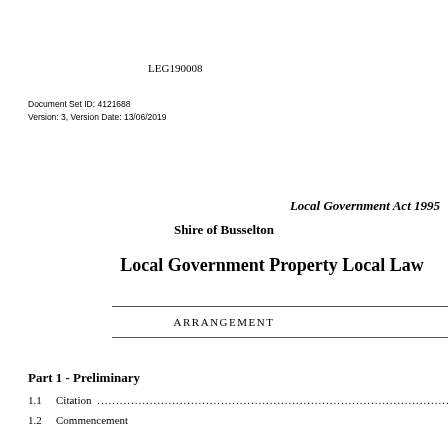LEG190008
Document Set ID: 4121688
Version: 3, Version Date: 13/06/2019
Local Government Act 1995
Shire of Busselton
Local Government Property Local Law
ARRANGEMENT
Part 1 - Preliminary
1.1    Citation ...
1.2    Commencement